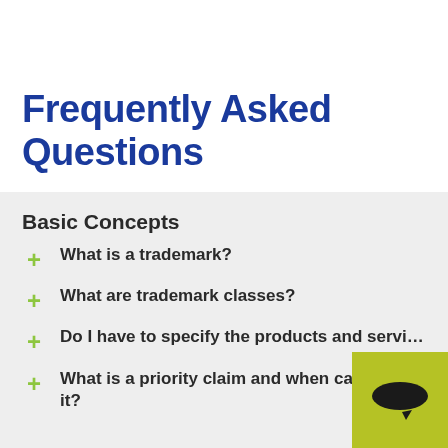Frequently Asked Questions
Basic Concepts
What is a trademark?
What are trademark classes?
Do I have to specify the products and services?
What is a priority claim and when can I use it?